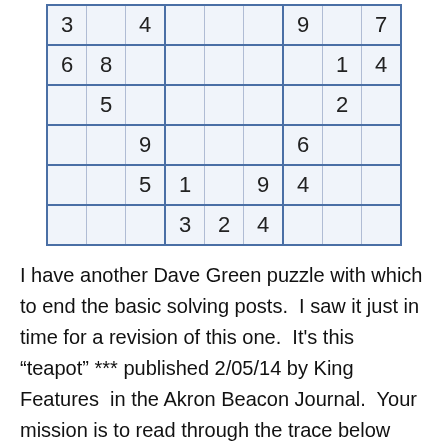[Figure (other): Partial Sudoku grid showing a 6x9 visible portion with numbers: row1: 3,_,4,_,_,_,9,_,7; row2: 6,8,_,_,_,_,_,1,4; row3: _,5,_,_,_,_,_,2,_; row4: _,_,9,_,_,_,6,_,_; row5: _,_,5,1,_,9,4,_,_; row6: _,_,_,3,2,4,_,_,_]
I have another Dave Green puzzle with which to end the basic solving posts.  I saw it just in time for a revision of this one.  It’s this “teapot” *** published 2/05/14 by King Features  in the Akron Beacon Journal.  Your mission is to read through the trace below and find the times that a special box formation from the beginner’s page is used to leapfrog the numerical order of box marking. You know to get out a grid and mark it up as you read, right?  The